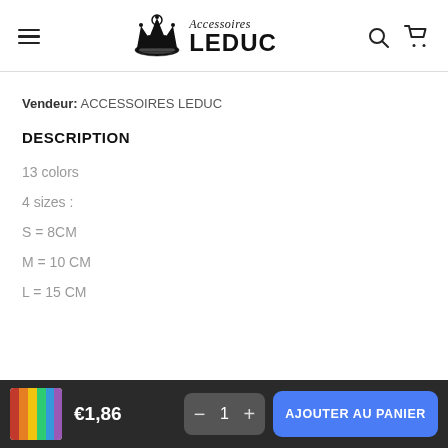Accessoires LEDUC
Vendeur: ACCESSOIRES LEDUC
DESCRIPTION
13 colors
4 sizes :
S = 8CM
M = 10 CM
L = 15 CM
€1,86  —  1  AJOUTER AU PANIER